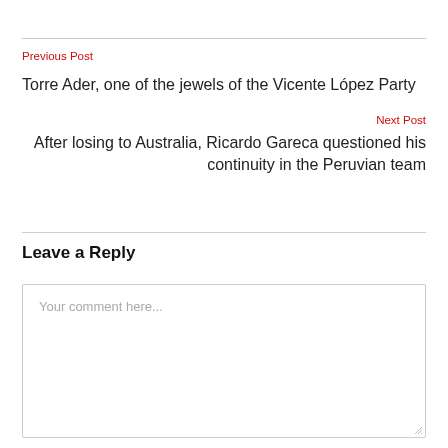Previous Post
Torre Ader, one of the jewels of the Vicente López Party
Next Post
After losing to Australia, Ricardo Gareca questioned his continuity in the Peruvian team
Leave a Reply
Your comment here...